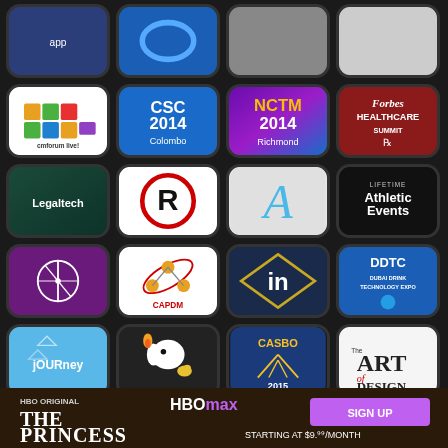[Figure (screenshot): Grid of mobile app icons arranged in 4 columns and 6 rows on a dark background. Row 1 (partial, top cut): blue app icon, blue swirl icon, grey icon, white icon. Row 2: Cmforum Live (white/colorful), CSC 2014 Colombo (blue), NCTM 2014 Richmond (purple/blue gradient), Forbes Healthcare Summit (dark red). Row 3: Legaltech (dark green), R logo (white/red circle), A letter (light grey), Lifetime Athletic Events (black). Row 4: Circle/compass icon (purple), CAPDM molecule (white), LinkedIn 'in' diamond (dark navy), DDTC Dubai Drink Technology Expo (blue). Row 5: jOURney (light blue), Snoopy/Peanuts (dark), CASBO 2015 (dark blue), The Art of Design NAEA (white). Row 6 (partial): red/white icon, dark blue icon, grey icon, green icon.]
[Figure (screenshot): HBO Max advertisement banner at bottom of screen showing 'THE PRINCESS' HBO Original with text 'HBOMAX SIGN UP STARTING AT $9.99/MONTH' on tan/brown background]